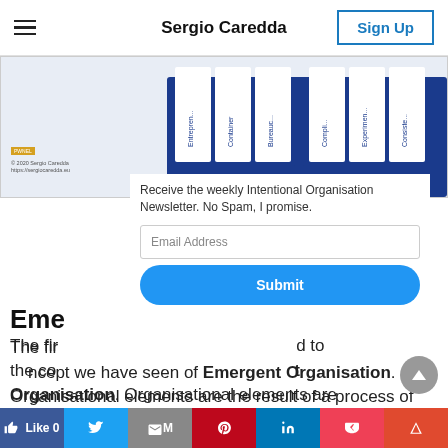Sergio Caredda | Sign Up
[Figure (illustration): Diagram showing Emergent Design and Intentional Design columns with categories like Entrepreneur, Container, Bureau, Compliance, Experiment, Consistency on a blue background]
Receive the weekly Intentional Organisation Newsletter. No Spam, I promise.
Email Address
Submit
Eme...
The first concept we have seen of Emergent Organisation. Organisational elements are the result of a process of Emergent Design, which is often unconscious. Still, it reflects the
Like 0 | Twitter | Mail | Pinterest | LinkedIn | Pocket | Feedly